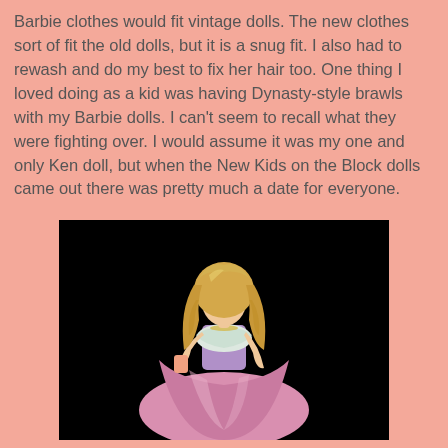Barbie clothes would fit vintage dolls. The new clothes sort of fit the old dolls, but it is a snug fit. I also had to rewash and do my best to fix her hair too. One thing I loved doing as a kid was having Dynasty-style brawls with my Barbie dolls. I can't seem to recall what they were fighting over. I would assume it was my one and only Ken doll, but when the New Kids on the Block dolls came out there was pretty much a date for everyone.
[Figure (photo): A Barbie doll with long blonde hair wearing a pink satin ball gown with a white feathered bodice, posed against a black background.]